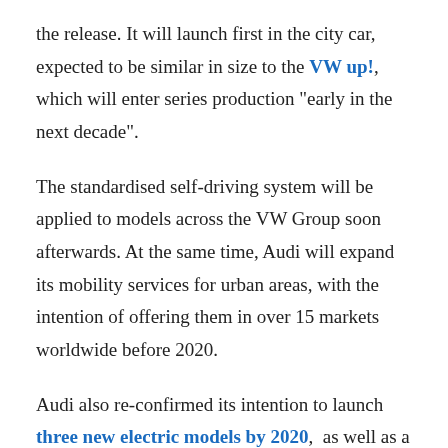the release. It will launch first in the city car, expected to be similar in size to the VW up!, which will enter series production "early in the next decade".
The standardised self-driving system will be applied to models across the VW Group soon afterwards. At the same time, Audi will expand its mobility services for urban areas, with the intention of offering them in over 15 markets worldwide before 2020.
Audi also re-confirmed its intention to launch three new electric models by 2020, as well as a range of e-tron hybrid variants of existing models. The first model to receive 'Level 3' autonomous tech will be the new A8 – set to be revealed this year – while the brand also confirmed a